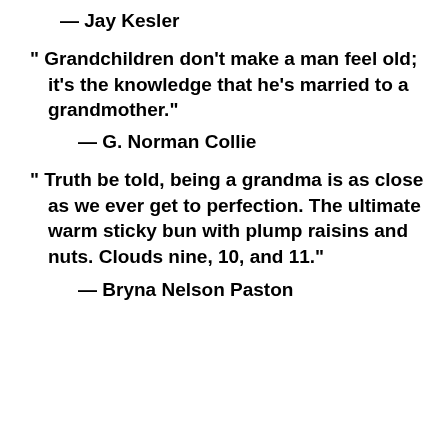— Jay Kesler
“ Grandchildren don’t make a man feel old; it’s the knowledge that he’s married to a grandmother.”
— G. Norman Collie
“ Truth be told, being a grandma is as close as we ever get to perfection. The ultimate warm sticky bun with plump raisins and nuts. Clouds nine, 10, and 11.”
— Bryna Nelson Paston